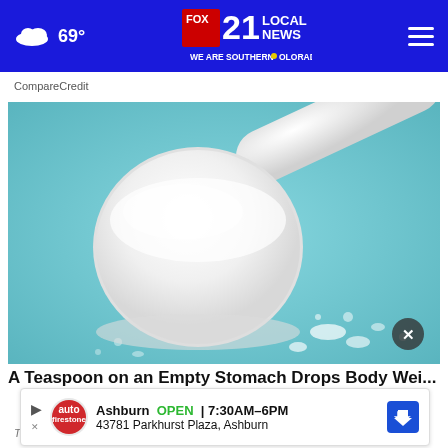69° FOX 21 LOCAL NEWS WE ARE SOUTHERN COLORADO
CompareCredit
[Figure (photo): A white plastic measuring scoop filled with white powder on a light blue background, with scattered white granules around it.]
A Teaspoon on an Empty Stomach Drops Body Wei...
Trending New Posts
[Figure (other): Ad banner: Ashburn OPEN 7:30AM-6PM 43781 Parkhurst Plaza, Ashburn with Firestone Auto Care logo and navigation arrow]